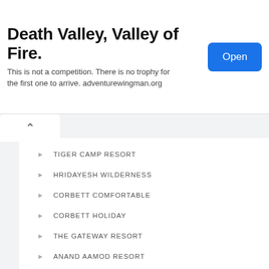[Figure (other): Advertisement banner: Death Valley, Valley of Fire. This is not a competition. There is no trophy for the first one to arrive. adventurewingman.org — with a blue Open button]
TIGER CAMP RESORT
HRIDAYESH WILDERNESS
CORBETT COMFORTABLE
CORBETT HOLIDAY
THE GATEWAY RESORT
ANAND AAMOD RESORT
2 Star Hotels in Corbett
CORBETT HEAVEN
WILD CREST RESORT